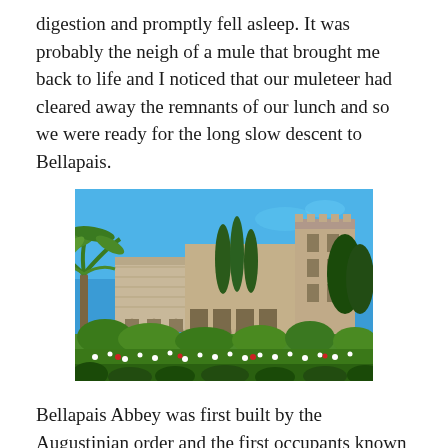digestion and promptly fell asleep. It was probably the neigh of a mule that brought me back to life and I noticed that our muleteer had cleared away the remnants of our lunch and so we were ready for the long slow descent to Bellapais.
[Figure (photo): Photograph of Bellapais Abbey ruins with arched cloisters, cypress trees, lush garden greenery and flowering plants in foreground, blue sky above, and a palm tree on the left.]
Bellapais Abbey was first built by the Augustinian order and the first occupants known to have settled there were the Canons of the Holy Sepulchre in Jerusalem, who had fled after its fall to Saladin in 1187. The Canons had been the custodians of the Church of the Holy Sepulchre In